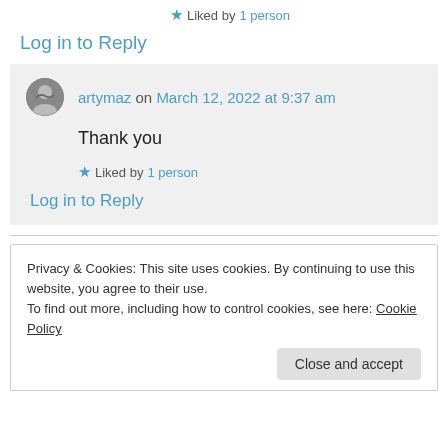★ Liked by 1 person
Log in to Reply
artymaz on March 12, 2022 at 9:37 am
Thank you
★ Liked by 1 person
Log in to Reply
Privacy & Cookies: This site uses cookies. By continuing to use this website, you agree to their use.
To find out more, including how to control cookies, see here: Cookie Policy
Close and accept